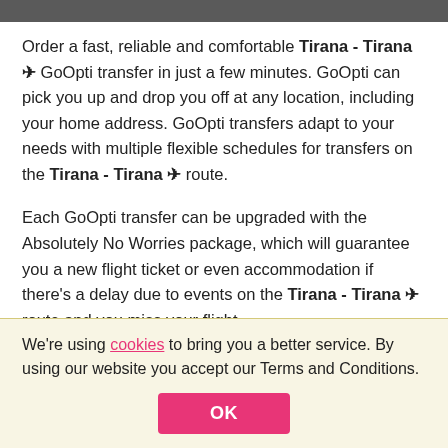Order a fast, reliable and comfortable Tirana - Tirana ✈ GoOpti transfer in just a few minutes. GoOpti can pick you up and drop you off at any location, including your home address. GoOpti transfers adapt to your needs with multiple flexible schedules for transfers on the Tirana - Tirana ✈ route.
Each GoOpti transfer can be upgraded with the Absolutely No Worries package, which will guarantee you a new flight ticket or even accommodation if there's a delay due to events on the Tirana - Tirana ✈ route and you miss your flight.
We're using cookies to bring you a better service. By using our website you accept our Terms and Conditions.